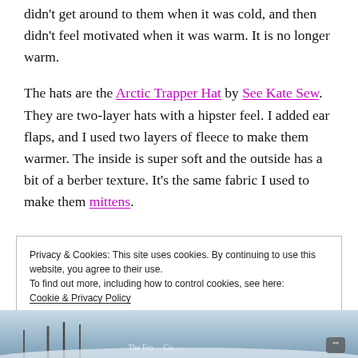didn't get around to them when it was cold, and then didn't feel motivated when it was warm. It is no longer warm.
The hats are the Arctic Trapper Hat by See Kate Sew. They are two-layer hats with a hipster feel. I added ear flaps, and I used two layers of fleece to make them warmer. The inside is super soft and the outside has a bit of a berber texture. It's the same fabric I used to make them mittens.
Privacy & Cookies: This site uses cookies. By continuing to use this website, you agree to their use.
To find out more, including how to control cookies, see here: Cookie & Privacy Policy
[Close and accept]
[Figure (photo): Partial photo strip at bottom of page showing a winter outdoor scene, partially cut off]